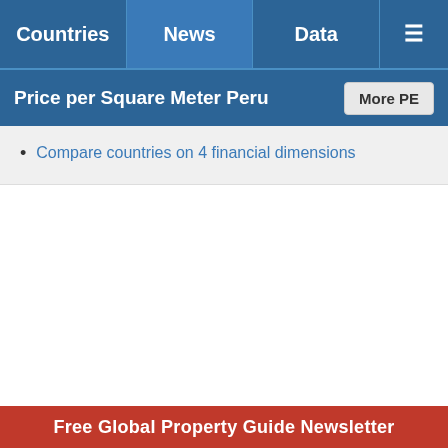Countries | News | Data | Menu
Price per Square Meter Peru
Compare countries on 4 financial dimensions
Free Global Property Guide Newsletter